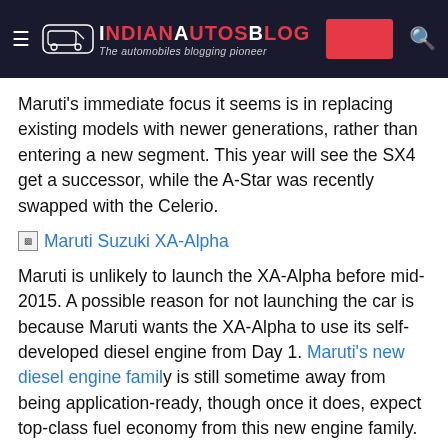IndianAutosBlog — The automobiles blogging pioneer
Maruti's immediate focus it seems is in replacing existing models with newer generations, rather than entering a new segment. This year will see the SX4 get a successor, while the A-Star was recently swapped with the Celerio.
[Figure (photo): Broken image link labeled 'Maruti Suzuki XA-Alpha']
Maruti is unlikely to launch the XA-Alpha before mid-2015. A possible reason for not launching the car is because Maruti wants the XA-Alpha to use its self-developed diesel engine from Day 1. Maruti's new diesel engine family is still sometime away from being application-ready, though once it does, expect top-class fuel economy from this new engine family.
5. Mahindra S101
The Mahindra S101 will arrive in showrooms as early as next